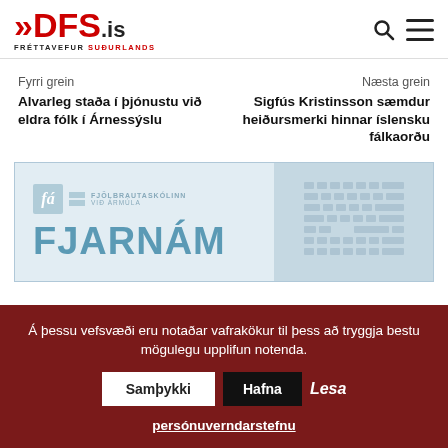[Figure (logo): DFS.is logo - Fréttavefur Suðurlands with red chevron arrows and text]
Fyrri grein
Alvarleg staða í þjónustu við eldra fólk í Árnessýslu
Næsta grein
Sigfús Kristinsson sæmdur heiðursmerki hinnar íslensku fálkaorðu
[Figure (illustration): Fjölbrautaskólinn við Ármúla - FJARNÁM advertisement image with logo and keyboard]
Á þessu vefsvæði eru notaðar vafrakökur til þess að tryggja bestu mögulegu upplifun notenda.
Samþykki   Hafna   Lesa persónuverndarstefnu